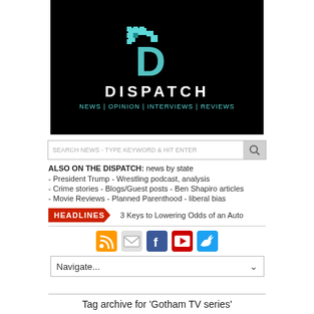[Figure (logo): Dispatch news logo on black background with cyan D graphic, white DISPATCH text, and cyan navigation menu text: NEWS | OPINION | INTERVIEWS | REVIEWS]
SEARCH NEWS - TYPE KEYWORD & HIT ENTER
ALSO ON THE DISPATCH: news by state
- President Trump - Wrestling podcast, analysis
- Crime stories - Blogs/Guest posts - Ben Shapiro articles
- Movie Reviews - Planned Parenthood - liberal bias
HEADLINES  3 Keys to Lowering Odds of an Auto
[Figure (infographic): Social media icons: RSS feed (orange), email (envelope), Facebook (blue), YouTube (red/white), Twitter (blue bird)]
Navigate...
Tag archive for 'Gotham TV series'